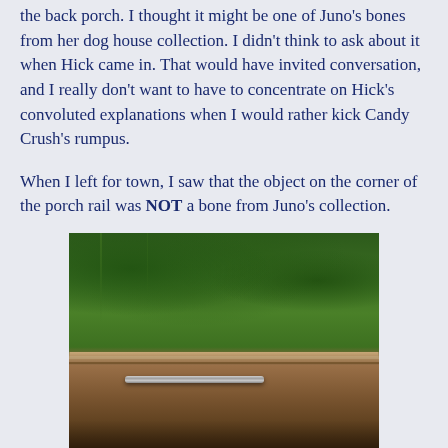the back porch. I thought it might be one of Juno's bones from her dog house collection. I didn't think to ask about it when Hick came in. That would have invited conversation, and I really don't want to have to concentrate on Hick's convoluted explanations when I would rather kick Candy Crush's rumpus.
When I left for town, I saw that the object on the corner of the porch rail was NOT a bone from Juno's collection.
[Figure (photo): A wooden porch rail with a metal rod/bar resting on it, green foliage trees visible in background]